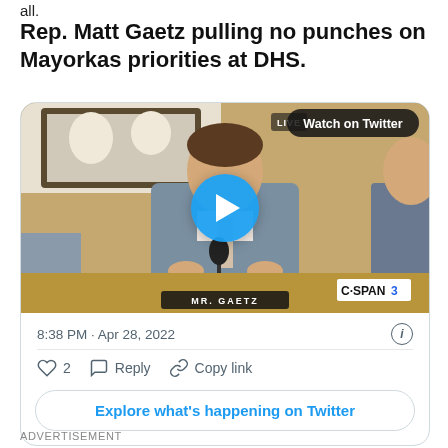all.
Rep. Matt Gaetz pulling no punches on Mayorkas priorities at DHS.
[Figure (screenshot): Embedded Twitter video thumbnail showing Rep. Matt Gaetz at a congressional hearing on C-SPAN3, with a play button overlay and 'Watch on Twitter' badge. LIVE indicator visible. 'MR. GAETZ' nameplate at bottom.]
8:38 PM · Apr 28, 2022
♡  2    Reply    Copy link
Explore what's happening on Twitter
ADVERTISEMENT